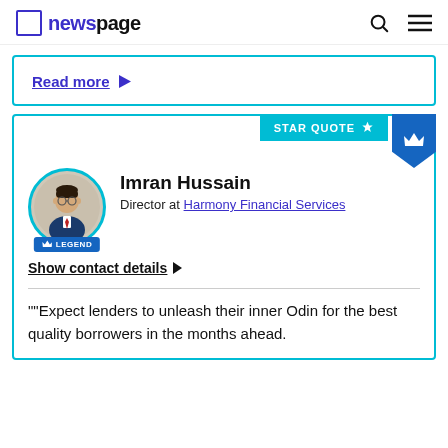newspage
Read more
STAR QUOTE
[Figure (photo): Profile photo of Imran Hussain in a suit]
Imran Hussain
Director at Harmony Financial Services
Show contact details
""Expect lenders to unleash their inner Odin for the best quality borrowers in the months ahead.